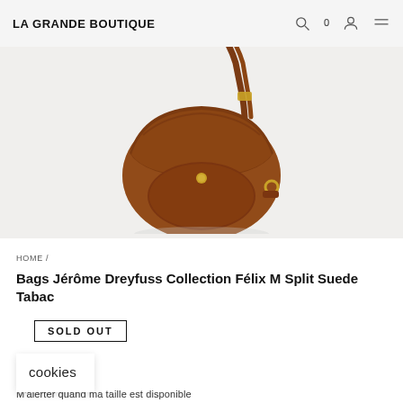LA GRANDE BOUTIQUE
[Figure (photo): Brown suede saddle bag (Félix M) with leather shoulder strap and gold hardware, displayed on a light grey background.]
HOME /
Bags Jérôme Dreyfuss Collection Félix M Split Suede Tabac
SOLD OUT
€ 490,00
cookies
M'alerter quand ma taille est disponible